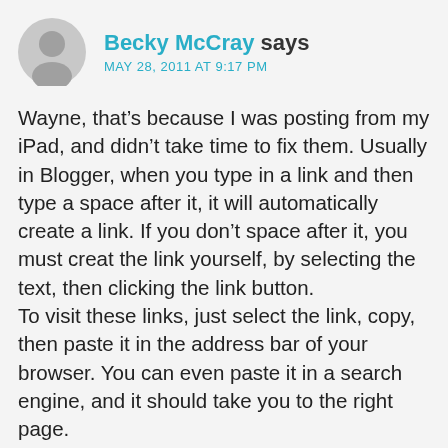[Figure (illustration): Gray circular avatar icon with a silhouette of a person]
Becky McCray says
MAY 28, 2011 AT 9:17 PM
Wayne, that's because I was posting from my iPad, and didn't take time to fix them. Usually in Blogger, when you type in a link and then type a space after it, it will automatically create a link. If you don't space after it, you must creat the link yourself, by selecting the text, then clicking the link button.
To visit these links, just select the link, copy, then paste it in the address bar of your browser. You can even paste it in a search engine, and it should take you to the right page.
Sorry for the pain. I'll get around and fix them when I'm back at my office.